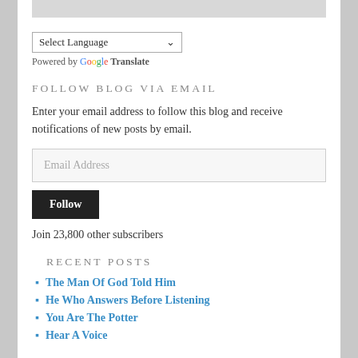[Figure (screenshot): Gray bar at top representing a partially visible widget or image area]
Select Language ▾
Powered by Google Translate
FOLLOW BLOG VIA EMAIL
Enter your email address to follow this blog and receive notifications of new posts by email.
Email Address
Follow
Join 23,800 other subscribers
RECENT POSTS
The Man Of God Told Him
He Who Answers Before Listening
You Are The Potter
Hear A Voice